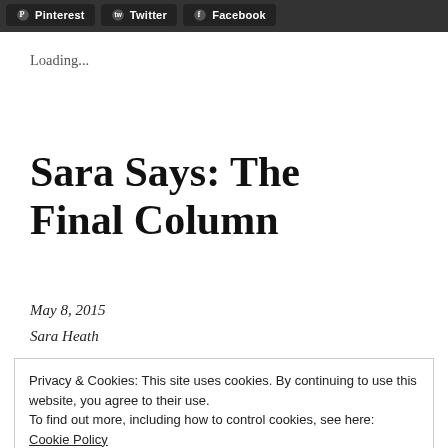Pinterest  Twitter  Facebook
Loading...
Sara Says: The Final Column
May 8, 2015
Sara Heath
Privacy & Cookies: This site uses cookies. By continuing to use this website, you agree to their use.
To find out more, including how to control cookies, see here:
Cookie Policy
Close and accept